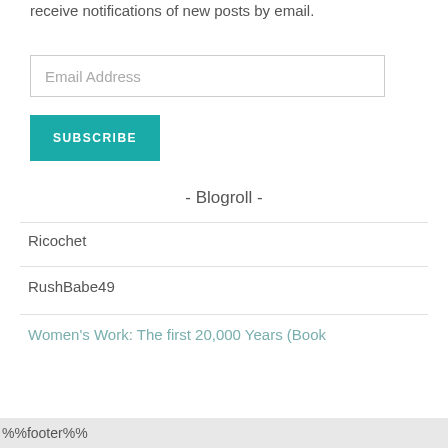receive notifications of new posts by email.
Email Address
SUBSCRIBE
- Blogroll -
Ricochet
RushBabe49
Women's Work: The first 20,000 Years (Book
%%footer%%